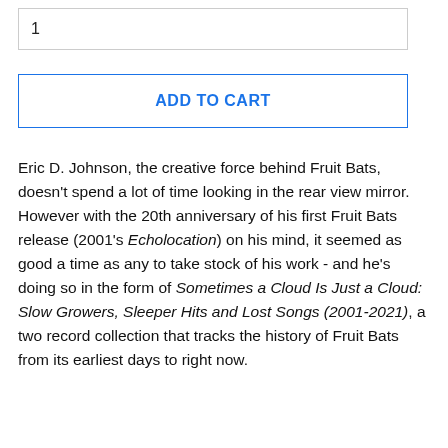1
ADD TO CART
Eric D. Johnson, the creative force behind Fruit Bats, doesn't spend a lot of time looking in the rear view mirror. However with the 20th anniversary of his first Fruit Bats release (2001's Echolocation) on his mind, it seemed as good a time as any to take stock of his work - and he's doing so in the form of Sometimes a Cloud Is Just a Cloud: Slow Growers, Sleeper Hits and Lost Songs (2001-2021), a two record collection that tracks the history of Fruit Bats from its earliest days to right now.